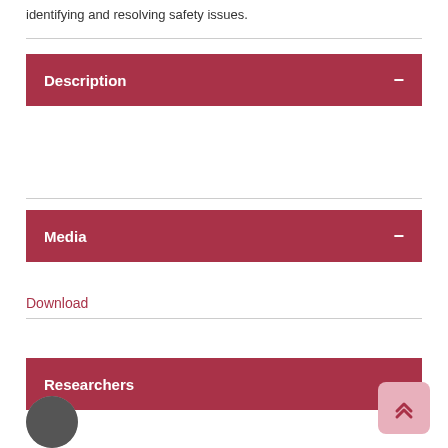identifying and resolving safety issues.
Description
Media
Download
Researchers
[Figure (photo): Circular avatar photo at the bottom left]